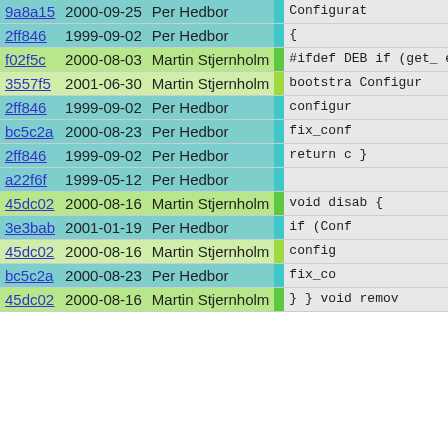| hash | date | author | stripe | code |
| --- | --- | --- | --- | --- |
| 9a8a15 | 2000-09-25 | Per Hedbor |  | Configurat |
| 2ff846 | 1999-09-02 | Per Hedbor |  | { |
| f02f5c | 2000-08-03 | Martin Stjernholm |  | #ifdef DEB
    if (get_
      error
#endif |
| 3557f5 | 2001-06-30 | Martin Stjernholm |  | bootstra
Configur |
| 2ff846 | 1999-09-02 | Per Hedbor |  | configur |
| bc5c2a | 2000-08-23 | Per Hedbor |  | fix_conf |
| 2ff846 | 1999-09-02 | Per Hedbor |  | return c
} |
| a22f6f | 1999-05-12 | Per Hedbor |  |  |
| 45dc02 | 2000-08-16 | Martin Stjernholm |  | void disab
{ |
| 3e3bab | 2001-01-19 | Per Hedbor |  | if (Conf |
| 45dc02 | 2000-08-16 | Martin Stjernholm |  | config |
| bc5c2a | 2000-08-23 | Per Hedbor |  | fix_co |
| 45dc02 | 2000-08-16 | Martin Stjernholm |  | }
} |